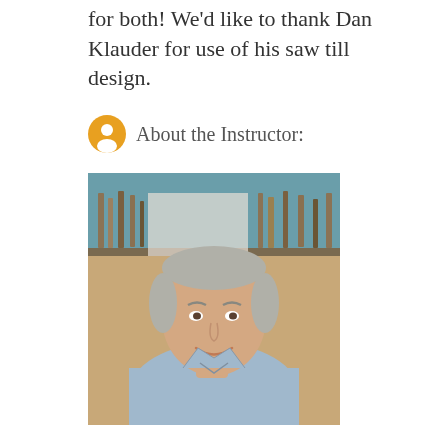for both! We'd like to thank Dan Klauder for use of his saw till design.
About the Instructor:
[Figure (photo): Portrait photo of Tom Calisto, a man with grey hair wearing a light blue shirt, smiling in a workshop with hand tools on shelves in the background.]
Tom Calisto is an expert hand tool maker and engineer, with specialty in